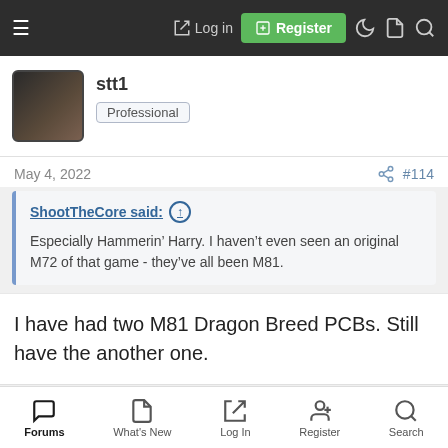☰  Log in  Register
stt1
Professional
May 4, 2022
#114
ShootTheCore said: ↑
Especially Hammerin' Harry. I haven't even seen an original M72 of that game - they've all been M81.
I have had two M81 Dragon Breed PCBs. Still have the another one.
9999 Damage
Student
Forums  What's New  Log In  Register  Search